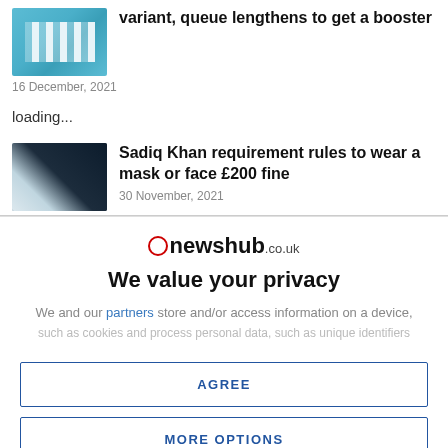[Figure (photo): Thumbnail image of vaccine vials on blue background]
variant, queue lengthens to get a booster
16 December, 2021
loading...
[Figure (photo): Thumbnail image of face masks in black and white]
Sadiq Khan requirement rules to wear a mask or face £200 fine
30 November, 2021
[Figure (logo): Newshub.co.uk logo with red circle icon]
We value your privacy
We and our partners store and/or access information on a device, such as cookies and process personal data, such as unique identifiers
AGREE
MORE OPTIONS